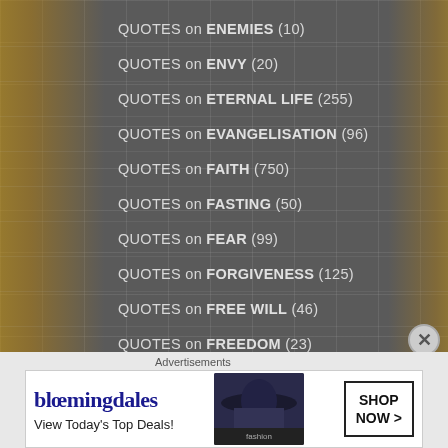QUOTES on ENEMIES (10)
QUOTES on ENVY (20)
QUOTES on ETERNAL LIFE (255)
QUOTES on EVANGELISATION (96)
QUOTES on FAITH (750)
QUOTES on FASTING (50)
QUOTES on FEAR (99)
QUOTES on FORGIVENESS (125)
QUOTES on FREE WILL (46)
QUOTES on FREEDOM (23)
QUOTES on FRIENDSHIP (13)
[Figure (infographic): Bloomingdales advertisement banner: 'bloomingdales / View Today's Top Deals!' with a woman in a wide-brim hat and a 'SHOP NOW >' button]
Advertisements